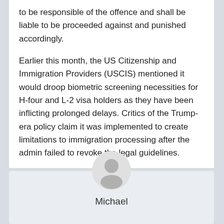to be responsible of the offence and shall be liable to be proceeded against and punished accordingly.
Earlier this month, the US Citizenship and Immigration Providers (USCIS) mentioned it would droop biometric screening necessities for H-four and L-2 visa holders as they have been inflicting prolonged delays. Critics of the Trump-era policy claim it was implemented to create limitations to immigration processing after the admin failed to revoke the legal guidelines.
[Figure (illustration): Circular user avatar icon with a generic grey silhouette of a person on a light grey background]
Michael